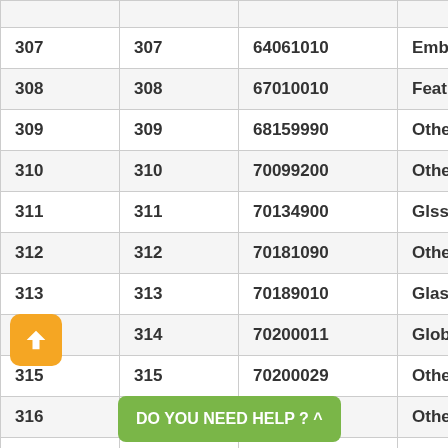|  |  |  |  |
| --- | --- | --- | --- |
| 307 | 307 | 64061010 | Embro |
| 308 | 308 | 67010010 | Feathe |
| 309 | 309 | 68159990 | Others |
| 310 | 310 | 70099200 | Other C |
| 311 | 311 | 70134900 | Glsswr |
| 312 | 312 | 70181090 | Others |
| 313 | 313 | 70189010 | Glass S |
| 314 | 314 | 70200011 | Globes |
| 315 | 315 | 70200029 | Other C |
| 316 | 316 | 92029000 | Other S |
| 317 | 317 |  |  |